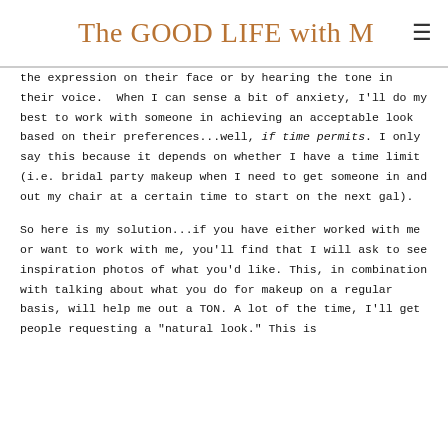The GOOD LIFE with M
the expression on their face or by hearing the tone in their voice.  When I can sense a bit of anxiety, I'll do my best to work with someone in achieving an acceptable look based on their preferences...well, if time permits. I only say this because it depends on whether I have a time limit (i.e. bridal party makeup when I need to get someone in and out my chair at a certain time to start on the next gal).
So here is my solution...if you have either worked with me or want to work with me, you'll find that I will ask to see inspiration photos of what you'd like. This, in combination with talking about what you do for makeup on a regular basis, will help me out a TON. A lot of the time, I'll get people requesting a "natural look." This is